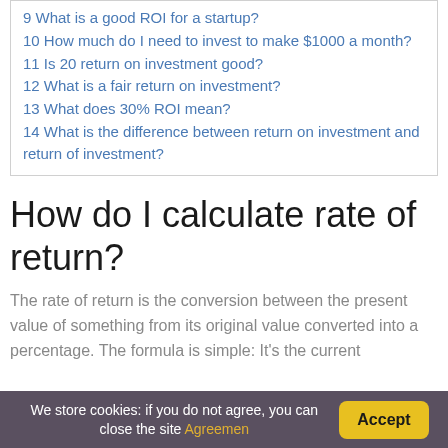9 What is a good ROI for a startup?
10 How much do I need to invest to make $1000 a month?
11 Is 20 return on investment good?
12 What is a fair return on investment?
13 What does 30% ROI mean?
14 What is the difference between return on investment and return of investment?
How do I calculate rate of return?
The rate of return is the conversion between the present value of something from its original value converted into a percentage. The formula is simple: It’s the current
We store cookies: if you do not agree, you can close the site Agreemen